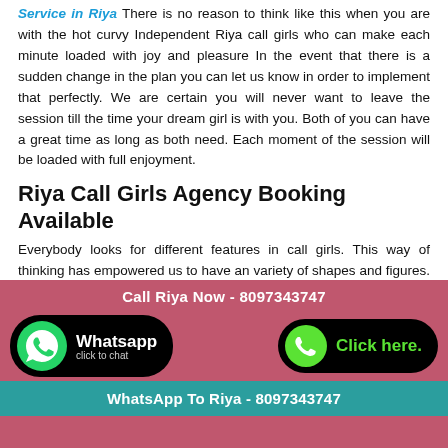Service in Riya There is no reason to think like this when you are with the hot curvy Independent Riya call girls who can make each minute loaded with joy and pleasure In the event that there is a sudden change in the plan you can let us know in order to implement that perfectly. We are certain you will never want to leave the session till the time your dream girl is with you. Both of you can have a great time as long as both need. Each moment of the session will be loaded with full enjoyment.
Riya Call Girls Agency Booking Available
Everybody looks for different features in call girls. This way of thinking has empowered us to have an variety of shapes and figures. Some of them look like talented super Riya call girls tall, thin, hot and delicate.Some of them have big tight breasts. Some are with excellent hair and dazzling eyes and some is provocative housewife with unmatched involvement in
Call Riya Now - 8097343747
[Figure (infographic): WhatsApp button with green phone icon and black rounded rectangle with 'Whatsapp click to chat' text]
[Figure (infographic): Click here button with green phone icon on black rounded rectangle]
WhatsApp To Riya - 8097343747